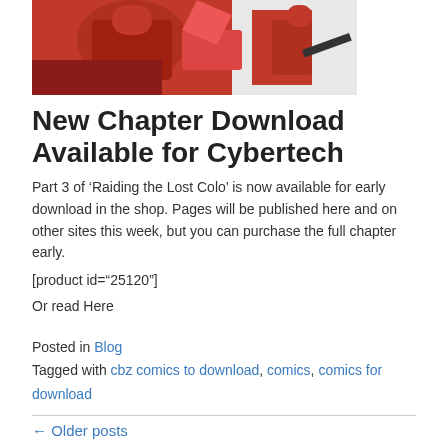[Figure (illustration): Comic book style illustration with red-costumed figures on a red and white background]
New Chapter Download Available for Cybertech
Part 3 of ‘Raiding the Lost Colo’ is now available for early download in the shop. Pages will be published here and on other sites this week, but you can purchase the full chapter early.
[product id="25120"]
Or read Here
Posted in Blog
Tagged with cbz comics to download, comics, comics for download
← Older posts